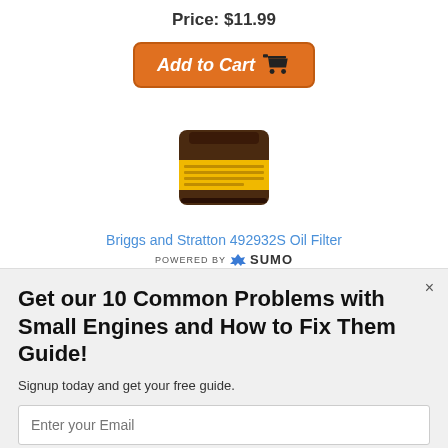Price: $11.99
[Figure (screenshot): Orange 'Add to Cart' button with shopping cart icon]
[Figure (photo): Briggs and Stratton 492932S Oil Filter product image - short cylindrical oil filter with yellow label]
Briggs and Stratton 492932S Oil Filter
[Figure (logo): POWERED BY SUMO logo with crown icon]
Get our 10 Common Problems with Small Engines and How to Fix Them Guide!
Signup today and get your free guide.
Enter your Email
Subscribe Now